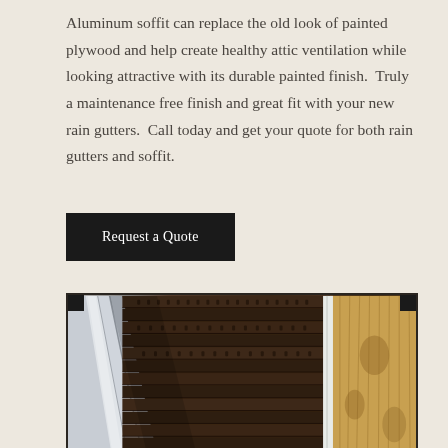Aluminum soffit can replace the old look of painted plywood and help create healthy attic ventilation while looking attractive with its durable painted finish.  Truly a maintenance free finish and great fit with your new rain gutters.  Call today and get your quote for both rain gutters and soffit.
Request a Quote
[Figure (photo): Close-up photograph of aluminum soffit installation showing dark brown horizontal slotted panels with a white gutter on the left side and unpainted wood fascia board visible on the right side.]